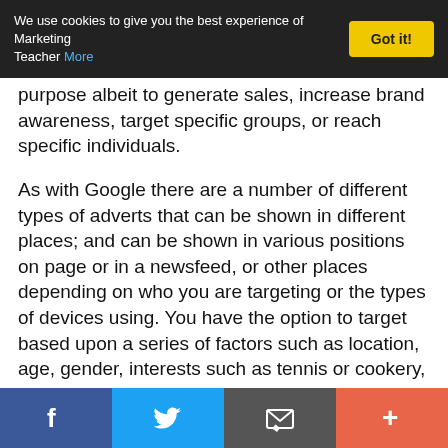We use cookies to give you the best experience of Marketing Teacher More | Got it!
purpose albeit to generate sales, increase brand awareness, target specific groups, or reach specific individuals.
As with Google there are a number of different types of adverts that can be shown in different places; and can be shown in various positions on page or in a newsfeed, or other places depending on who you are targeting or the types of devices using. You have the option to target based upon a series of factors such as location, age, gender, interests such as tennis or cookery, broader categories such as parents, or a variety of other related connections such as those who like or share your page. So based upon these factors you are more likely to target
f | Twitter | Email | +